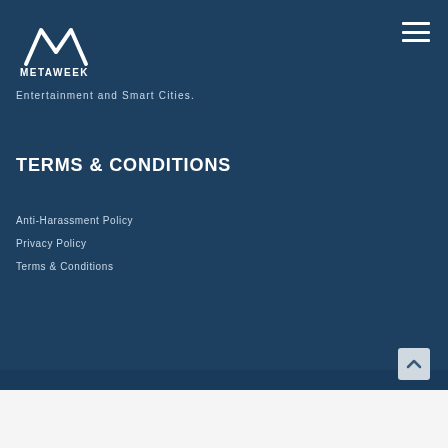[Figure (logo): METAWEEK logo with mountain/W shaped icon above the text METAWEEK]
Entertainment and Smart Cities.
TERMS & CONDITIONS
Anti-Harassment Policy
Privacy Policy
Terms & Conditions